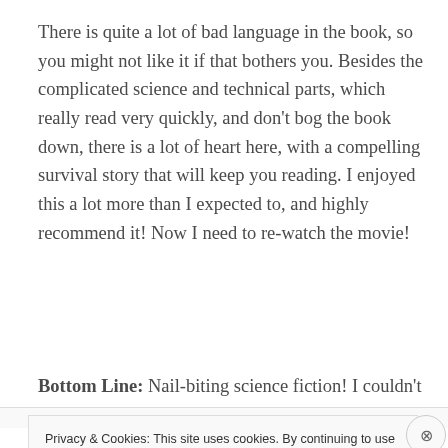There is quite a lot of bad language in the book, so you might not like it if that bothers you. Besides the complicated science and technical parts, which really read very quickly, and don't bog the book down, there is a lot of heart here, with a compelling survival story that will keep you reading. I enjoyed this a lot more than I expected to, and highly recommend it! Now I need to re-watch the movie!
Bottom Line: Nail-biting science fiction! I couldn't put this down!
Privacy & Cookies: This site uses cookies. By continuing to use this website, you agree to their use.
To find out more, including how to control cookies, see here: Cookie Policy
Close and accept